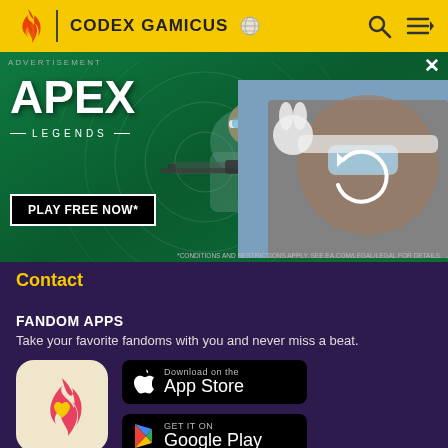CODEX GAMICUS
[Figure (illustration): Apex Legends advertisement banner with character holding sniper rifle on green background. Text: ADVERTISEMENT, APEX LEGENDS, PLAY FREE NOW*. Right panel shows close-up of character face with reload icon.]
Contact
FANDOM APPS
Take your favorite fandoms with you and never miss a beat.
[Figure (logo): Fandom app icon: pink/red flame with orange heart on cream background]
[Figure (screenshot): Download on the App Store button]
[Figure (screenshot): GET IT ON Google Play button]